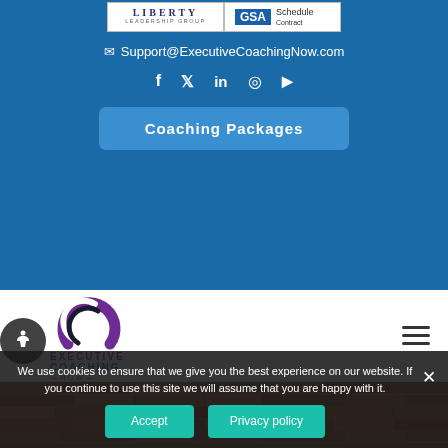[Figure (logo): Liberty Leadership Group and GSA Schedule Contract logos side by side]
Support@ExecutiveCoachingNow.com
[Figure (infographic): Social media icons: Facebook, Twitter, LinkedIn, Instagram, YouTube]
Coaching Packages
[Figure (logo): Executive Coaching Now logo with swirl icon and EXECUTIVE COACHING NOW text]
[Figure (photo): Brick wall background image]
We use cookies to ensure that we give you the best experience on our website. If you continue to use this site we will assume that you are happy with it.
Accept
Privacy policy